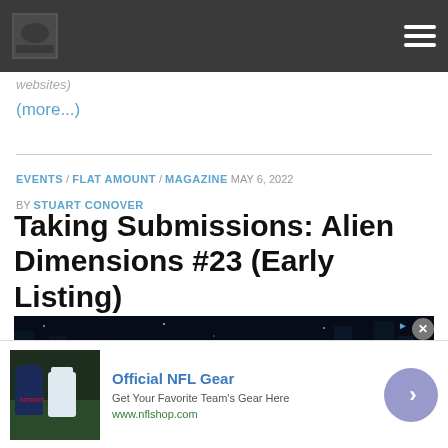Site logo and navigation menu
websites)
(more...)
EVENTS / FLAT AMOUNT / MAGAZINE  MAY 6, 2022  BY STUART CONOVER
Taking Submissions: Alien Dimensions #23 (Early Listing)
[Figure (photo): Banner image with text 'WRITE FOR ALIEN DIMENSIONS' on dark space background with 'NO COMPATIBLE SOURCE WAS' overlay text]
[Figure (photo): Advertisement: Official NFL Gear - Get Your Favorite Team's Gear Here - www.nflshop.com]